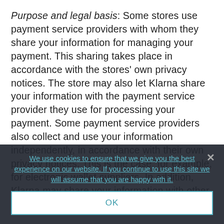Purpose and legal basis: Some stores use payment service providers with whom they share your information for managing your payment. This sharing takes place in accordance with the stores' own privacy notices. The store may also let Klarna share your information with the payment service provider they use for processing your payment. Some payment service providers also collect and use your information independently, in accordance with their own privacy notices. This is the case, for example, for electronic wallet suppliers. In addition, Klarna may share your information with other financial institutions when
We use cookies to ensure that we give you the best experience on our website. If you continue to use this site we will assume that you are happy with it.
OK